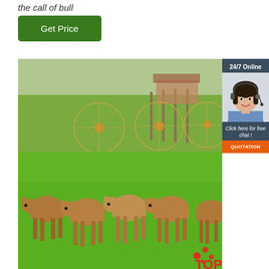the call of bull
Get Price
[Figure (photo): A group of young brown calves standing on a green grass field with circular hay raking equipment in the background. A farm building is visible in the far background.]
24/7 Online
[Figure (photo): A smiling woman with dark hair wearing a headset, dressed in a blue shirt, representing an online customer service agent.]
Click here for free chat !
QUOTATION
TOP